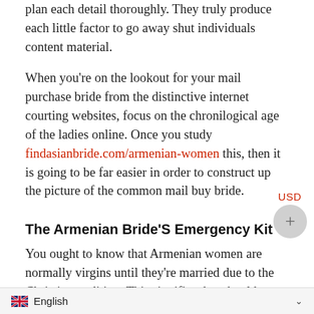plan each detail thoroughly. They truly produce each little factor to go away shut individuals content material.
When you're on the lookout for your mail purchase bride from the distinctive internet courting websites, focus on the chronilogical age of the ladies online. Once you study findasianbride.com/armenian-women this, then it is going to be far easier in order to construct up the picture of the common mail buy bride.
The Armenian Bride'S Emergency Kit
You ought to know that Armenian women are normally virgins until they're married due to the Christian tradition. This signifies that should you marry an Armenian girl, she is going to in all probability be a virgin. The one who locations the veil on the bride's head must be a girl who has been fortuitously married for a variety of years. Taking all things into consideration, Armenian wom...